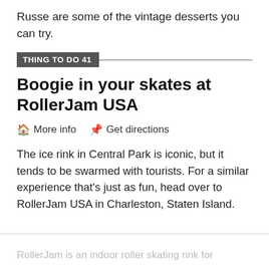Russe are some of the vintage desserts you can try.
THING TO DO 41
Boogie in your skates at RollerJam USA
More info   Get directions
The ice rink in Central Park is iconic, but it tends to be swarmed with tourists. For a similar experience that's just as fun, head over to RollerJam USA in Charleston, Staten Island.
RollerJam is an indoor roller skating rink for